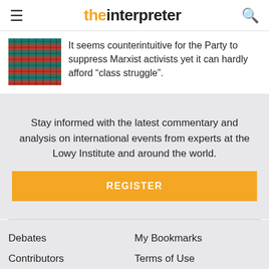the interpreter
[Figure (photo): Close-up photo of colorful woven fabric or flags with red and green/teal colors and black markings]
It seems counterintuitive for the Party to suppress Marxist activists yet it can hardly afford “class struggle”.
Stay informed with the latest commentary and analysis on international events from experts at the Lowy Institute and around the world.
REGISTER
Debates
Contributors
Articles
About
Comments Policy
My Bookmarks
Terms of Use
Site map
My Admin
Log In